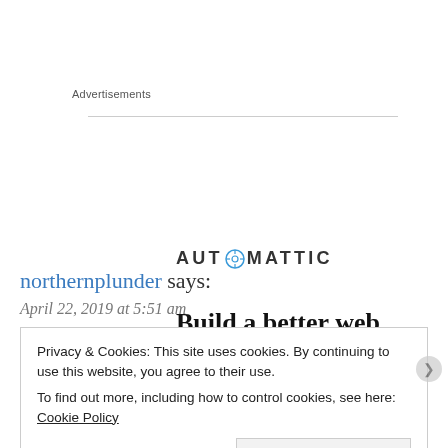Advertisements
[Figure (logo): Automattic logo with compass icon and tagline 'Build a better web']
northernplunder says:
April 22, 2019 at 5:51 am
Privacy & Cookies: This site uses cookies. By continuing to use this website, you agree to their use. To find out more, including how to control cookies, see here: Cookie Policy
Close and accept